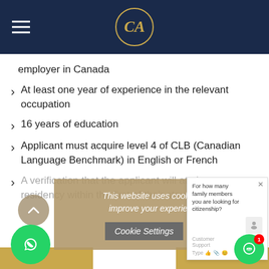CA logo navigation header
employer in Canada
At least one year of experience in the relevant occupation
16 years of education
Applicant must acquire level 4 of CLB (Canadian Language Benchmark) in English or French
A verification that the applicant will attain permanent residency within the first of their stay in Canada.
This website uses cookies to improve your experience. Cookie Settings X
For how many family members you are looking for citizenship? Customer Support just now Type